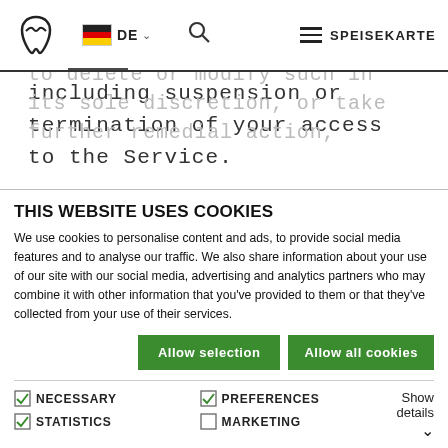[Figure (screenshot): Website navigation bar with logo, DE language selector, search icon, and SPEISEKARTE menu button]
to monitor or action any Content but reserves the right to delete or modify such in its sole discretion, or take further remedial action, including suspension or termination of your access to the Service.
You assume all risks with respect to your Content or use thereof, including without
THIS WEBSITE USES COOKIES
We use cookies to personalise content and ads, to provide social media features and to analyse our traffic. We also share information about your use of our site with our social media, advertising and analytics partners who may combine it with other information that you've provided to them or that they've collected from your use of their services.
Allow selection | Allow all cookies
NECESSARY  PREFERENCES  STATISTICS  MARKETING  Show details